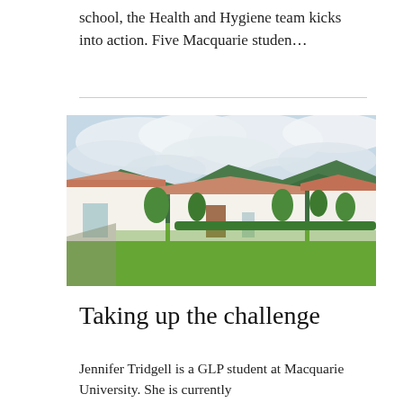school, the Health and Hygiene team kicks into action. Five Macquarie studen…
[Figure (photo): Outdoor courtyard of a white-walled colonial-style building complex with terracotta tile roofs, green lawn, tropical plants, and forested hills and cloudy sky in the background.]
Taking up the challenge
Jennifer Tridgell is a GLP student at Macquarie University. She is currently